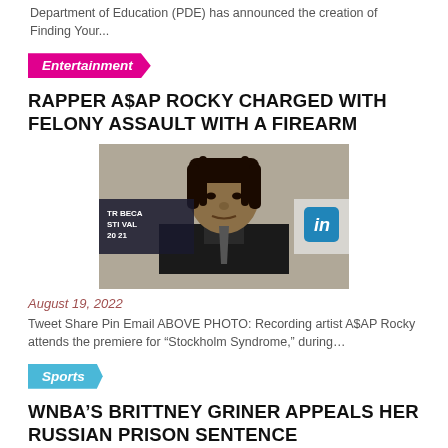Department of Education (PDE) has announced the creation of Finding Your...
Entertainment
RAPPER A$AP ROCKY CHARGED WITH FELONY ASSAULT WITH A FIREARM
[Figure (photo): A$AP Rocky at Tribeca Film Festival 2021, wearing a suit, with braided hair, with event banner visible in background]
August 19, 2022
Tweet Share Pin Email ABOVE PHOTO: Recording artist A$AP Rocky attends the premiere for “Stockholm Syndrome,” during...
Sports
WNBA’S BRITTNEY GRINER APPEALS HER RUSSIAN PRISON SENTENCE
[Figure (photo): Partial photo of Brittney Griner, cropped at bottom of page]